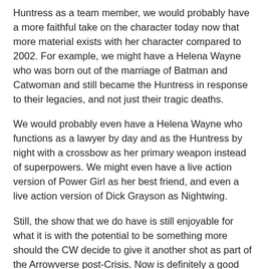Huntress as a team member, we would probably have a more faithful take on the character today now that more material exists with her character compared to 2002. For example, we might have a Helena Wayne who was born out of the marriage of Batman and Catwoman and still became the Huntress in response to their legacies, and not just their tragic deaths.
We would probably even have a Helena Wayne who functions as a lawyer by day and as the Huntress by night with a crossbow as her primary weapon instead of superpowers. We might even have a live action version of Power Girl as her best friend, and even a live action version of Dick Grayson as Nightwing.
Still, the show that we do have is still enjoyable for what it is with the potential to be something more should the CW decide to give it another shot as part of the Arrowverse post-Crisis. Now is definitely a good time for the show to make a comeback in a decade where superhero fiction is becoming more visible and respected in mainstream pop culture. Something I'm sure I'll talk more about when I discuss the